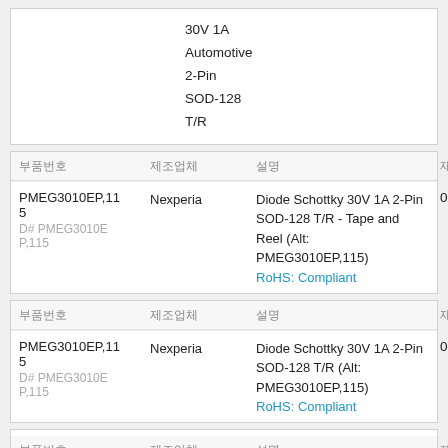|  |  |
| --- | --- |
| 30V 1A
Automotive
2-Pin
SOD-128
T/R |  |
| 부품번호 | 제조업체 | 설명 | 재고 |
| --- | --- | --- | --- |
| PMEG3010EP,115
D# PMEG3010EP,115 | Nexperia | Diode Schottky 30V 1A 2-Pin SOD-128 T/R - Tape and Reel (Alt: PMEG3010EP,115)
RoHS: Compliant | 0 |
| 부품번호 | 제조업체 | 설명 | 재고 |
| --- | --- | --- | --- |
| PMEG3010EP,115
D# PMEG3010EP,115 | Nexperia | Diode Schottky 30V 1A 2-Pin SOD-128 T/R (Alt: PMEG3010EP,115)
RoHS: Compliant | 0 |
| 부품번호 | 제조업체 | 설명 | 재고 |
| --- | --- | --- | --- |